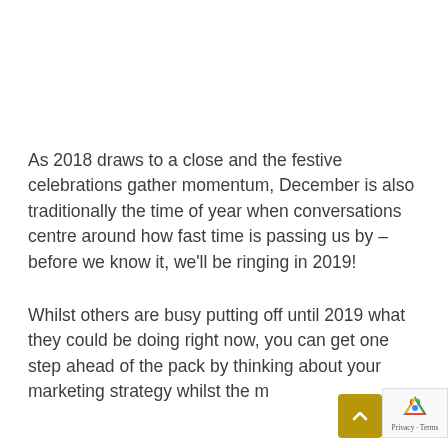As 2018 draws to a close and the festive celebrations gather momentum, December is also traditionally the time of year when conversations centre around how fast time is passing us by – before we know it, we'll be ringing in 2019!
Whilst others are busy putting off until 2019 what they could be doing right now, you can get one step ahead of the pack by thinking about your marketing strategy whilst the mince pies are still warm. This doesn't mean you have